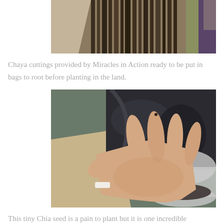[Figure (photo): Chaya cuttings, partially visible at top of page, dark woody sticks with some cardboard/packaging material]
Chaya cuttings provided by Miracles in Action ready to be put in bags to root before planting in the land.
[Figure (photo): A hand held open flat showing a tiny chia seed on a fingertip, with dark plastic bags and a bowl of chia seeds visible in the background]
This tiny Chia seed is a pain to plant but it is one incredible SUPERFOOD packed with